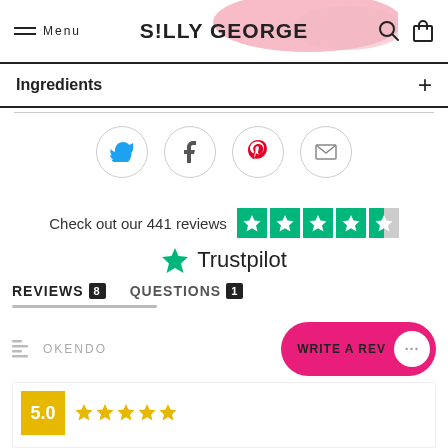Menu | S!LLY GEORGE
Ingredients +
[Figure (infographic): Social share icons: Twitter, Facebook, Pinterest, Email in circular outlines]
Check out our 441 reviews
[Figure (other): Trustpilot 4.5 star rating badge and logo]
REVIEWS 8   QUESTIONS 1
OKENDO   WRITE A REV
[Figure (other): Partial review card with yellow score box and stars]